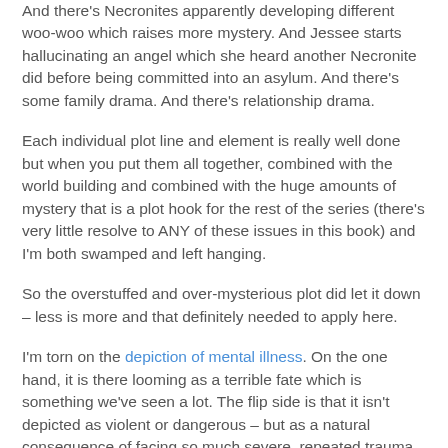And there's Necronites apparently developing different woo-woo which raises more mystery. And Jessee starts hallucinating an angel which she heard another Necronite did before being committed into an asylum. And there's some family drama. And there's relationship drama.
Each individual plot line and element is really well done but when you put them all together, combined with the world building and combined with the huge amounts of mystery that is a plot hook for the rest of the series (there's very little resolve to ANY of these issues in this book) and I'm both swamped and left hanging.
So the overstuffed and over-mysterious plot did let it down – less is more and that definitely needed to apply here.
I'm torn on the depiction of mental illness. On the one hand, it is there looming as a terrible fate which is something we've seen a lot. The flip side is that it isn't depicted as violent or dangerous – but as a natural consequence of facing so much severe, repeated trauma which is very realistic and understandable. I also like that the mental hospital was actually presented as a positive institution, not as a prison or...